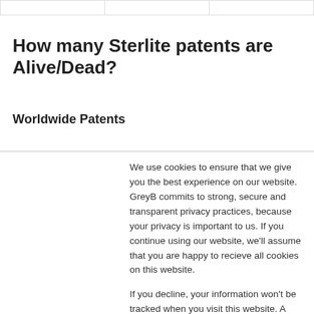|  |
How many Sterlite patents are Alive/Dead?
Worldwide Patents
We use cookies to ensure that we give you the best experience on our website. GreyB commits to strong, secure and transparent privacy practices, because your privacy is important to us. If you continue using our website, we'll assume that you are happy to recieve all cookies on this website.

If you decline, your information won't be tracked when you visit this website. A single cookie will be used in your browser to remember your preference not to be tracked.
Continue
Learn More